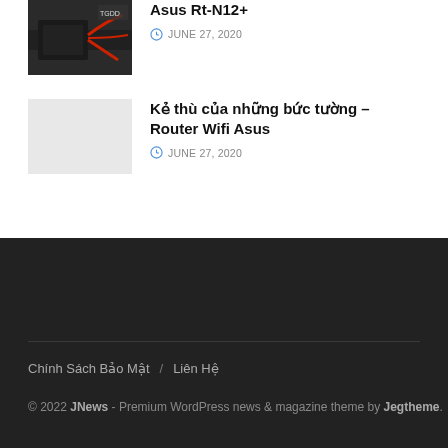[Figure (photo): Thumbnail image of Asus RT-N12+ router setup with red cables on dark surface]
Asus Rt-N12+
JUNE 27, 2020
[Figure (photo): Light gray placeholder thumbnail image]
Kẻ thù của những bức tường – Router Wifi Asus
JUNE 27, 2020
Chính Sách Bảo Mật / Liên Hệ
© 2022 JNews - Premium WordPress news & magazine theme by Jegtheme.